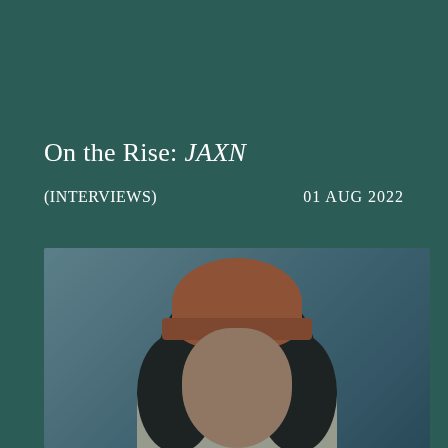On the Rise: JAXN
(INTERVIEWS)
01 AUG 2022
[Figure (photo): Person with curly dark hair and orange/red knit beanie hat, mouth open wide as if laughing or singing, wearing a light-colored jacket, photographed against a muted blue-grey background]